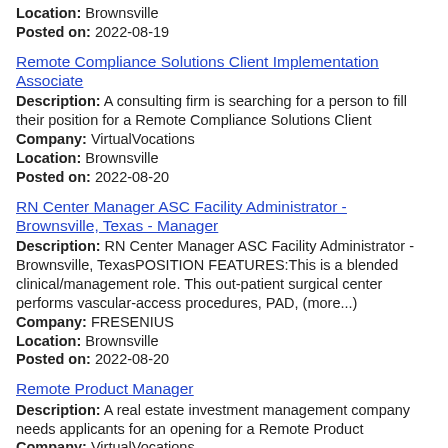Location: Brownsville
Posted on: 2022-08-19
Remote Compliance Solutions Client Implementation Associate
Description: A consulting firm is searching for a person to fill their position for a Remote Compliance Solutions Client
Company: VirtualVocations
Location: Brownsville
Posted on: 2022-08-20
RN Center Manager ASC Facility Administrator - Brownsville, Texas - Manager
Description: RN Center Manager ASC Facility Administrator - Brownsville, TexasPOSITION FEATURES:This is a blended clinical/management role. This out-patient surgical center performs vascular-access procedures, PAD, (more...)
Company: FRESENIUS
Location: Brownsville
Posted on: 2022-08-20
Remote Product Manager
Description: A real estate investment management company needs applicants for an opening for a Remote Product
Company: VirtualVocations
Location: Brownsville
Posted on: 2022-08-20